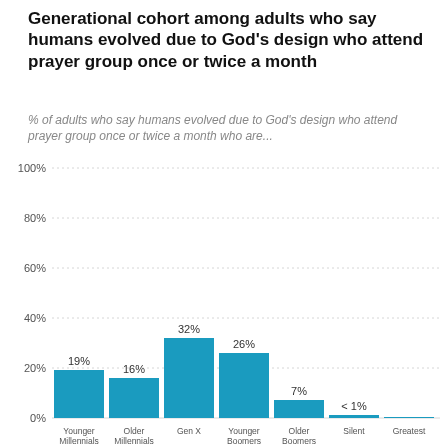Generational cohort among adults who say humans evolved due to God's design who attend prayer group once or twice a month
% of adults who say humans evolved due to God's design who attend prayer group once or twice a month who are...
[Figure (bar-chart): Generational cohort among adults who say humans evolved due to God's design who attend prayer group once or twice a month]